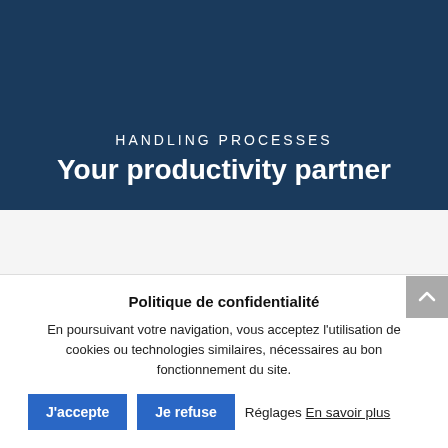HANDLING PROCESSES
Your productivity partner
Politique de confidentialité
En poursuivant votre navigation, vous acceptez l'utilisation de cookies ou technologies similaires, nécessaires au bon fonctionnement du site.
J'accepte   Je refuse   Réglages En savoir plus